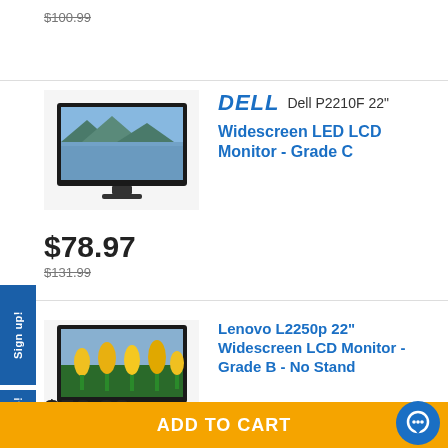$100.99 (strikethrough)
[Figure (photo): Dell P2210F 22-inch widescreen monitor with landscape/mountain screen displayed]
DELL   Dell P2210F 22"
Widescreen LED LCD Monitor - Grade C
$78.97
$131.99 (strikethrough)
[Figure (photo): Lenovo L2250p 22-inch widescreen monitor with yellow tulips displayed on screen]
Lenovo L2250p 22" Widescreen LCD Monitor - Grade B - No Stand
$58.83
ADD TO CART